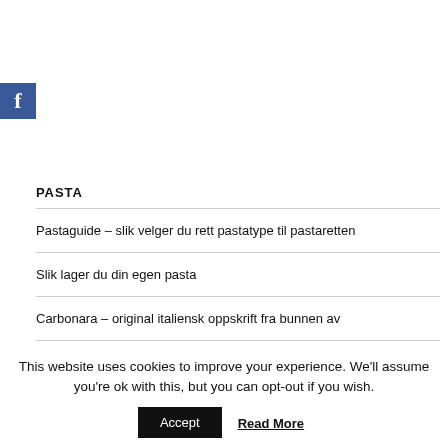[Figure (logo): Facebook logo — blue square with white lowercase 'f']
PASTA
Pastaguide – slik velger du rett pastatype til pastaretten
Slik lager du din egen pasta
Carbonara – original italiensk oppskrift fra bunnen av
This website uses cookies to improve your experience. We'll assume you're ok with this, but you can opt-out if you wish.
Accept
Read More